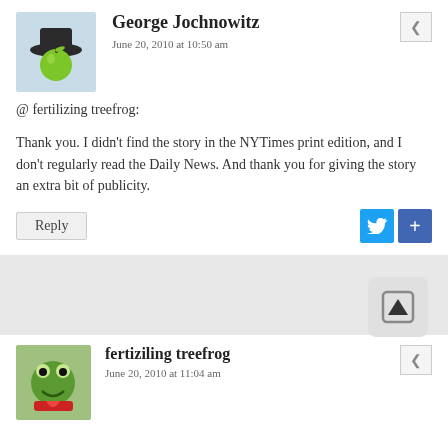George Jochnowitz
June 20, 2010 at 10:50 am
@ fertilizing treefrog:
Thank you. I didn't find the story in the NYTimes print edition, and I don't regularly read the Daily News. And thank you for giving the story an extra bit of publicity.
Reply
fertiziling treefrog
June 20, 2010 at 11:04 am